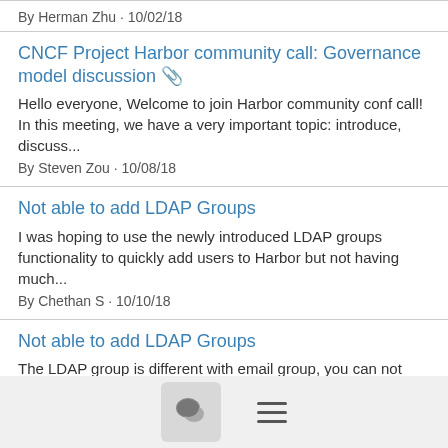By Herman Zhu · 10/02/18
CNCF Project Harbor community call: Governance model discussion 📎
Hello everyone, Welcome to join Harbor community conf call! In this meeting, we have a very important topic: introduce, discuss...
By Steven Zou · 10/08/18
Not able to add LDAP Groups
I was hoping to use the newly introduced LDAP groups functionality to quickly add users to Harbor but not having much...
By Chethan S · 10/10/18
Not able to add LDAP Groups
The LDAP group is different with email group, you can not use email group here. First you need to confirm that the...
By DaoJun Zhang · 10/10/18
harbor performance testing result & tool 7